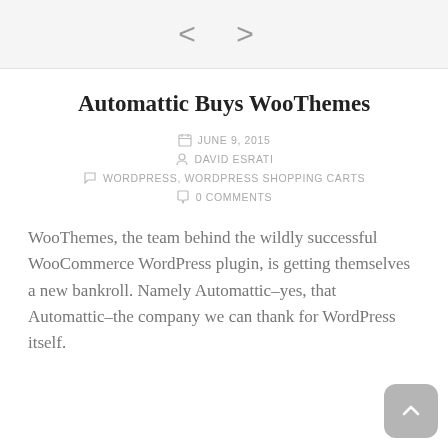< >
Automattic Buys WooThemes
JUNE 9, 2015
DAVID ESRATI
WORDPRESS, WORDPRESS SHOPPING CARTS
0 COMMENTS
WooThemes, the team behind the wildly successful WooCommerce WordPress plugin, is getting themselves a new bankroll. Namely Automattic–yes, that Automattic–the company we can thank for WordPress itself.